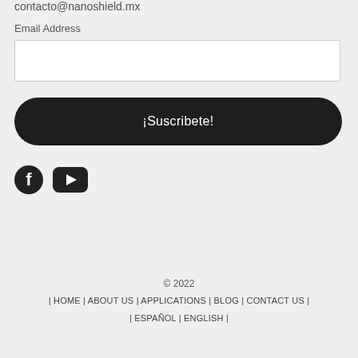contacto@nanoshield.mx
Email Address
¡Suscribete!
[Figure (illustration): Facebook and YouTube social media icons]
© 2022
| HOME | ABOUT US | APPLICATIONS | BLOG | CONTACT US |
| ESPAÑOL | ENGLISH |